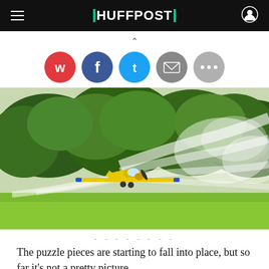HUFFPOST
[Figure (other): Social share buttons: WhatsApp (red), Facebook (blue), Twitter (blue), Email (gray), More (gray) with a collapse chevron above them]
[Figure (photo): A yellow crop-dusting airplane spraying pesticides low over a green field, with dense green trees in the background and a large white spray arc sweeping to the right]
--------
The puzzle pieces are starting to fall into place, but so far it's not a pretty picture.